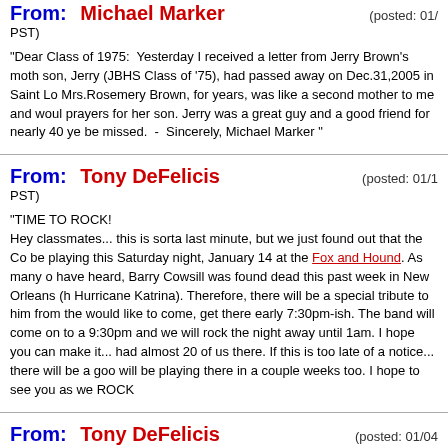From: Michael Marker (posted: 01/... PST)
"Dear Class of 1975: Yesterday I received a letter from Jerry Brown's moth son, Jerry (JBHS Class of '75), had passed away on Dec.31,2005 in Saint Lo Mrs.Rosemery Brown, for years, was like a second mother to me and woul prayers for her son. Jerry was a great guy and a good friend for nearly 40 ye be missed. - Sincerely, Michael Marker "
From: Tony DeFelicis (posted: 01/1... PST)
"TIME TO ROCK! Hey classmates... this is sorta last minute, but we just found out that the Co be playing this Saturday night, January 14 at the Fox and Hound. As many o have heard, Barry Cowsill was found dead this past week in New Orleans (h Hurricane Katrina). Therefore, there will be a special tribute to him from the would like to come, get there early 7:30pm-ish. The band will come on to a 9:30pm and we will rock the night away until 1am. I hope you can make it.. had almost 20 of us there. If this is too late of a notice... there will be a goo will be playing there in a couple weeks too. I hope to see you as we ROCK
From: Tony DeFelicis (posted: 01/04... PST)